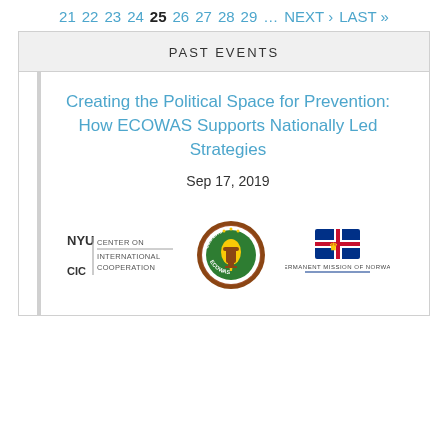21 22 23 24 25 26 27 28 29 … NEXT › LAST »
PAST EVENTS
Creating the Political Space for Prevention: How ECOWAS Supports Nationally Led Strategies
Sep 17, 2019
[Figure (logo): Three organizational logos: NYU Center on International Cooperation (CIC), ECOWAS logo (circular emblem with map of Africa), and Permanent Mission of Norway logo]